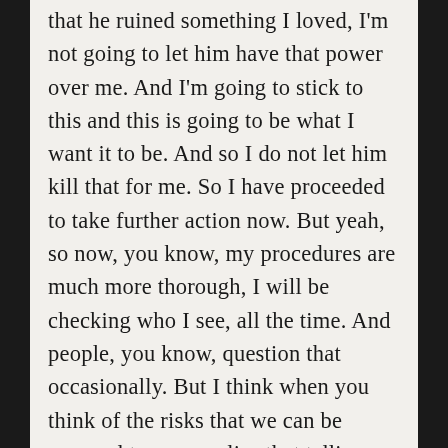that he ruined something I loved, I'm not going to let him have that power over me. And I'm going to stick to this and this is going to be what I want it to be. And so I do not let him kill that for me. So I have proceeded to take further action now. But yeah, so now, you know, my procedures are much more thorough, I will be checking who I see, all the time. And people, you know, question that occasionally. But I think when you think of the risks that we can be exposed to, you realise that telling, you know, your sex worker or providing some information to them to prove who you are, is very minimal compared to the risk that that we can face. So, but saying that,